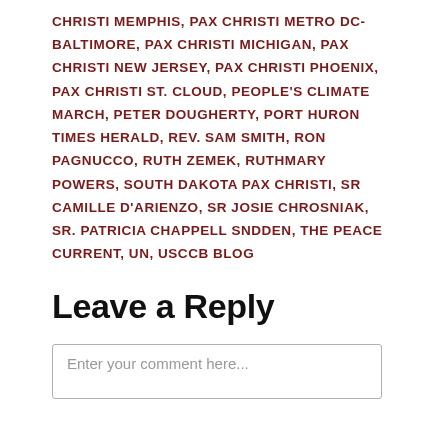CHRISTI MEMPHIS, PAX CHRISTI METRO DC-BALTIMORE, PAX CHRISTI MICHIGAN, PAX CHRISTI NEW JERSEY, PAX CHRISTI PHOENIX, PAX CHRISTI ST. CLOUD, PEOPLE'S CLIMATE MARCH, PETER DOUGHERTY, PORT HURON TIMES HERALD, REV. SAM SMITH, RON PAGNUCCO, RUTH ZEMEK, RUTHMARY POWERS, SOUTH DAKOTA PAX CHRISTI, SR CAMILLE D'ARIENZO, SR JOSIE CHROSNIAK, SR. PATRICIA CHAPPELL SNDDEN, THE PEACE CURRENT, UN, USCCB BLOG
Leave a Reply
Enter your comment here...